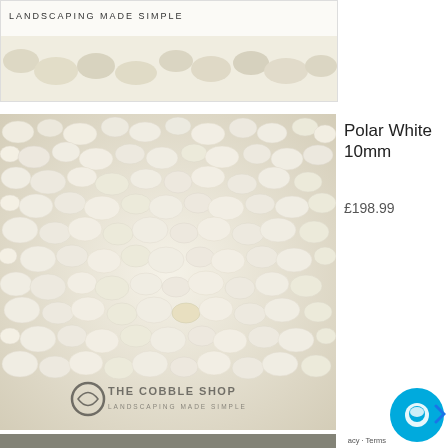[Figure (photo): Top partial product image showing 'LANDSCAPING MADE SIMPLE' logo text over a stone/landscape background, cropped view]
[Figure (photo): Close-up photo of Polar White 10mm cobblestones/gravel - small white rounded stones covering the entire frame, with 'THE COBBLE SHOP - LANDSCAPING MADE SIMPLE' watermark logo at the bottom]
Polar White 10mm
£198.99
[Figure (photo): Bottom partial product image, partially visible, showing a dark stone/gravel product]